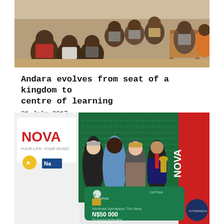[Figure (photo): Group of children and adults seated outdoors, community gathering]
Andara evolves from seat of a kingdom to centre of learning
21 July 2017
[Figure (photo): Four people holding a large Old Mutual cheque for N$50 000, 1st Prize, Windhoek Gymnasium The Gems. Nova radio and Old Mutual logos visible in background.]